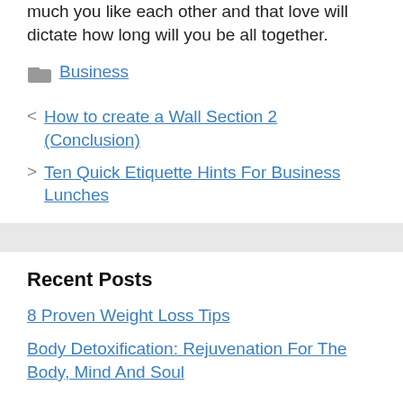much you like each other and that love will dictate how long will you be all together.
Business
How to create a Wall Section 2 (Conclusion)
Ten Quick Etiquette Hints For Business Lunches
Recent Posts
8 Proven Weight Loss Tips
Body Detoxification: Rejuvenation For The Body, Mind And Soul